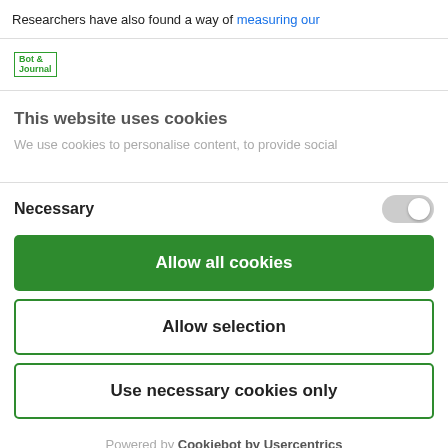Researchers have also found a way of measuring our
[Figure (logo): Small green logo with text 'Bot & Journal']
This website uses cookies
We use cookies to personalise content, to provide social
Necessary
Allow all cookies
Allow selection
Use necessary cookies only
Powered by Cookiebot by Usercentrics
complexity also need to be addressed, but the key part is